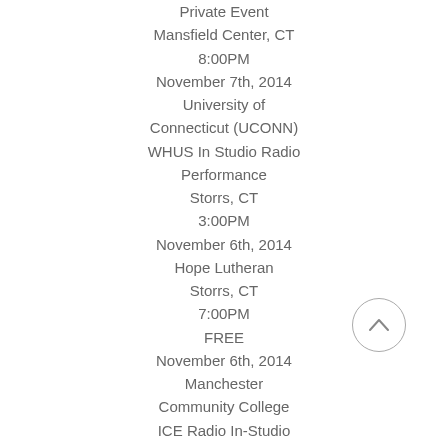Private Event
Mansfield Center, CT
8:00PM
November 7th, 2014
University of Connecticut (UCONN)
WHUS In Studio Radio Performance
Storrs, CT
3:00PM
November 6th, 2014
Hope Lutheran
Storrs, CT
7:00PM
FREE
November 6th, 2014
Manchester Community College
ICE Radio In-Studio